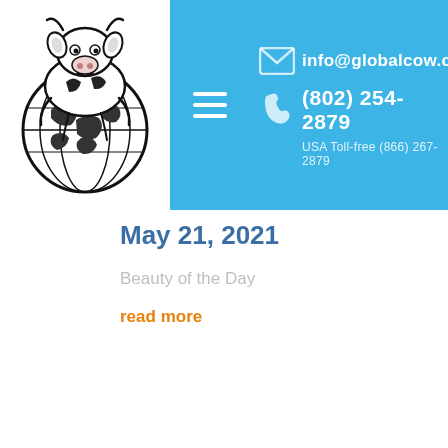[Figure (logo): Global Cow logo: cartoon cow sitting on top of a globe, black and white line art]
info@globalcow.com
(802) 254-2879
USA Toll-free (866) 267-2879
May 21, 2021
Beauty of the Day
read more